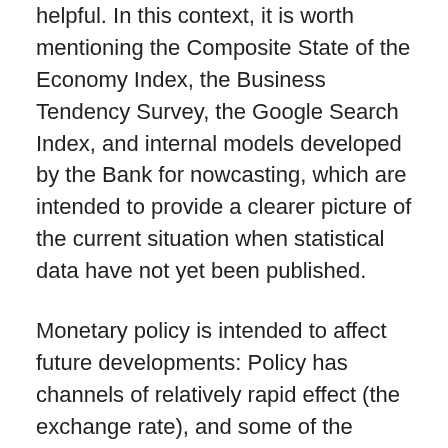helpful. In this context, it is worth mentioning the Composite State of the Economy Index, the Business Tendency Survey, the Google Search Index, and internal models developed by the Bank for nowcasting, which are intended to provide a clearer picture of the current situation when statistical data have not yet been published.
Monetary policy is intended to affect future developments: Policy has channels of relatively rapid effect (the exchange rate), and some of the others have a slower effect (for instance, the price of credit). In any case, an important component in the formulation of policy is the forecast, since monetary policy is, of course, forward looking. It is therefore very important that the monetary policy decisions that are made each month rely on a forecast that is